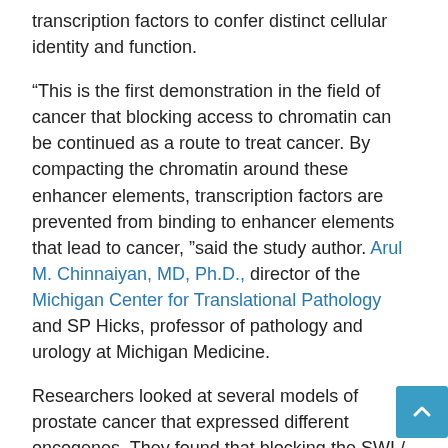transcription factors to confer distinct cellular identity and function.
“This is the first demonstration in the field of cancer that blocking access to chromatin can be continued as a route to treat cancer. By compacting the chromatin around these enhancer elements, transcription factors are prevented from binding to enhancer elements that lead to cancer, ” said the study author. Arul M. Chinnaiyan, MD, Ph.D., director of the Michigan Center for Translational Pathology and SP Hicks, professor of pathology and urology at Michigan Medicine.
Researchers looked at several models of prostate cancer that expressed different oncogenes. They found that blocking the SWI / SNF complex slows the growth of cancer cells and induces cell death, especially in tumors induced by FOXA1 or the androgen receptor. There was no effect on benign prostate cells.
In normal development, the SWI / SNF complex is essential. “Normal cells can survive with default levels of gene